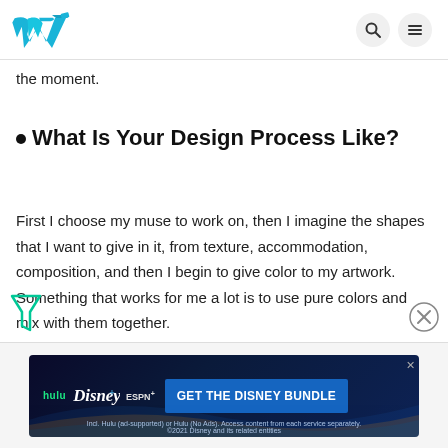Weebly (logo) with search and menu icons
the moment.
What Is Your Design Process Like?
First I choose my muse to work on, then I imagine the shapes that I want to give in it, from texture, accommodation, composition, and then I begin to give color to my artwork. Something that works for me a lot is to use pure colors and mix with them together.
[Figure (screenshot): Disney Bundle advertisement banner: Hulu, Disney+, ESPN+ logos with 'GET THE DISNEY BUNDLE' call to action button on dark blue background]